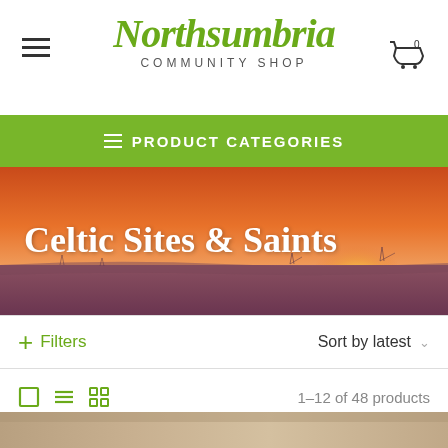[Figure (logo): Northsumbria Community Shop logo with green script text and subtitle]
PRODUCT CATEGORIES
Celtic Sites & Saints
+ Filters   Sort by latest
1–12 of 48 products
[Figure (photo): Partial sunset landscape photo at bottom of page]